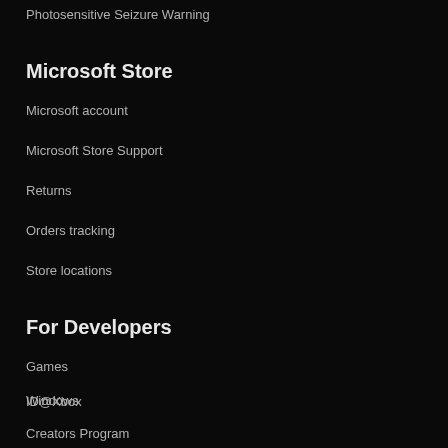Photosensitive Seizure Warning
Microsoft Store
Microsoft account
Microsoft Store Support
Returns
Orders tracking
Store locations
For Developers
Games
ID@Xbox
Windows
Creators Program
Designed for Xbox